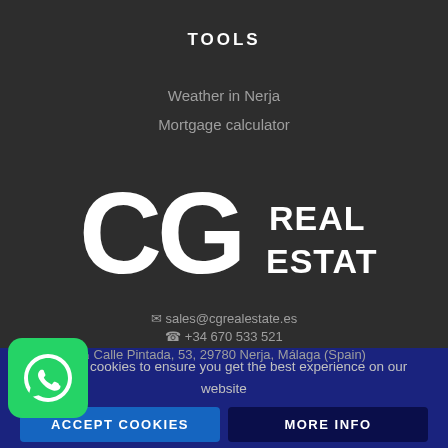TOOLS
Weather in Nerja
Mortgage calculator
[Figure (logo): CG Real Estate logo — large white 'CG' letters with 'REAL ESTATE' text in white on dark background]
✉ sales@cgrealestate.es
☎ +34 670 533 521
⌂ Calle Pintada, 53, 29780 Nerja, Málaga (Spain)
[Figure (logo): WhatsApp green button icon]
We use cookies to ensure you get the best experience on our website
ACCEPT COOKIES
MORE INFO